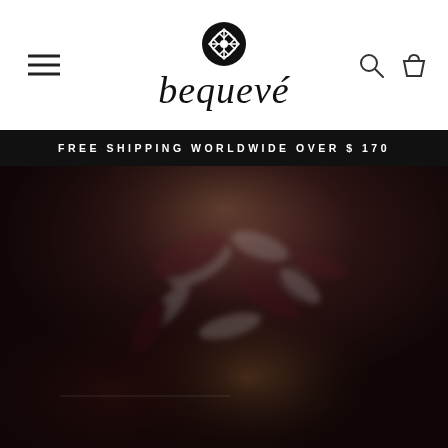bequevé — navigation header with menu, logo, search and cart icons
FREE SHIPPING WORLDWIDE OVER $ 170
[Figure (photo): Dark fashion photo of a woman wearing a floral/leaf print garment, dark moody lighting with red and brown tones]